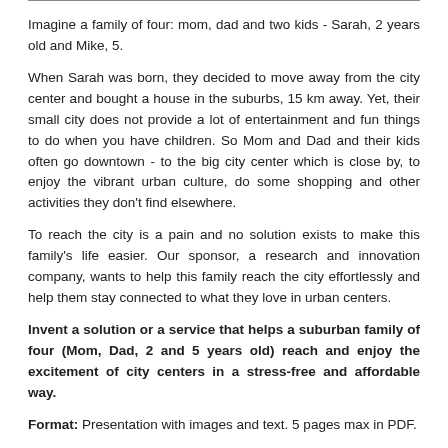Imagine a family of four: mom, dad and two kids - Sarah, 2 years old and Mike, 5.
When Sarah was born, they decided to move away from the city center and bought a house in the suburbs, 15 km away. Yet, their small city does not provide a lot of entertainment and fun things to do when you have children. So Mom and Dad and their kids often go downtown - to the big city center which is close by, to enjoy the vibrant urban culture, do some shopping and other activities they don't find elsewhere.
To reach the city is a pain and no solution exists to make this family's life easier. Our sponsor, a research and innovation company, wants to help this family reach the city effortlessly and help them stay connected to what they love in urban centers.
Invent a solution or a service that helps a suburban family of four (Mom, Dad, 2 and 5 years old) reach and enjoy the excitement of city centers in a stress-free and affordable way.
Format: Presentation with images and text. 5 pages max in PDF.